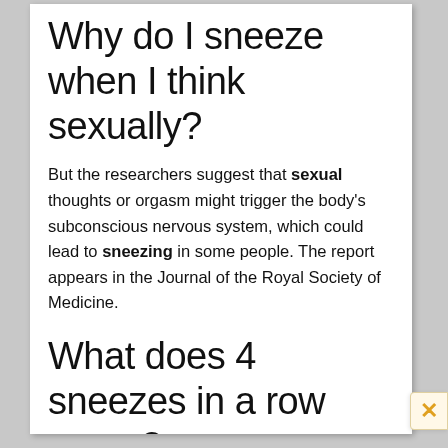Why do I sneeze when I think sexually?
But the researchers suggest that sexual thoughts or orgasm might trigger the body's subconscious nervous system, which could lead to sneezing in some people. The report appears in the Journal of the Royal Society of Medicine.
What does 4 sneezes in a row mean?
If you sneeze four times in a row you will die that...